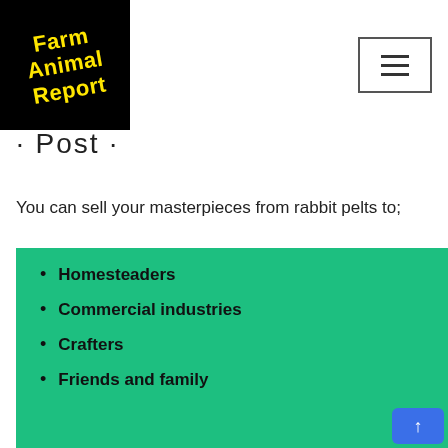[Figure (logo): Farm Animal Report logo: black background with yellow bold italic text reading 'Farm Animal Report' rotated slightly]
[Figure (other): Hamburger menu button: three horizontal lines in a bordered rectangle]
· Post ·
You can sell your masterpieces from rabbit pelts to;
Homesteaders
Commercial industries
Crafters
Friends and family